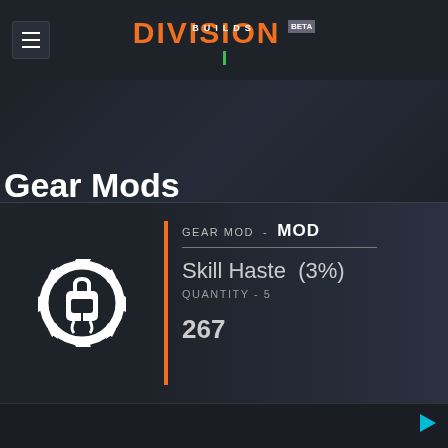DIVISION BUILDS BETA
Gear Mods
[Figure (illustration): Gear mod icon: backpack with gear/cog overlay in white on dark background]
GEAR MOD - MOD
Skill Haste (3%)
QUANTITY - 5
267